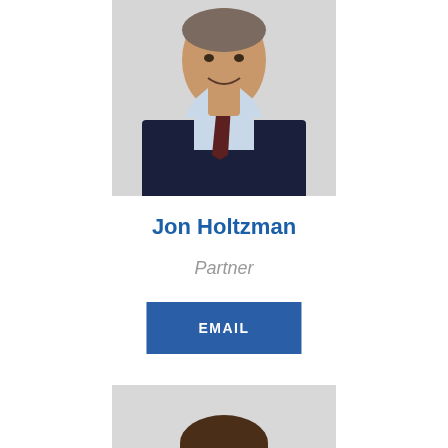[Figure (photo): Professional headshot of Jon Holtzman, partially cropped, showing face and upper body in dark suit with tie, light blue shirt, gray background]
Jon Holtzman
Partner
EMAIL
[Figure (photo): Professional headshot of a younger man with glasses, dark hair, beard and mustache, wearing a gray suit, smiling, light gray background]